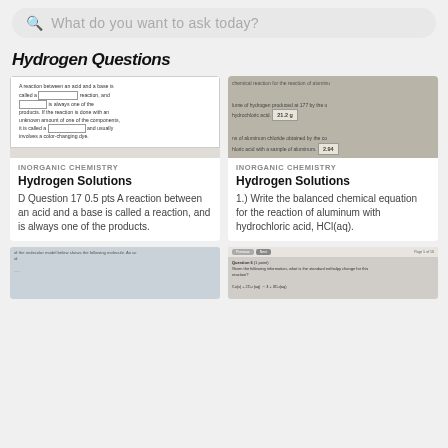What do you want to ask today?
Hydrogen Questions
[Figure (screenshot): Worksheet fill-in-the-blank question about acid-base reactions with blank input boxes]
[Figure (photo): Photo of chemistry worksheet showing balanced chemical equation for aluminum and hydrochloric acid with answers 21.2g and 2.94]
INORGANIC CHEMISTRY
Hydrogen Solutions
D Question 17 0.5 pts A reaction between an acid and a base is called a reaction, and is always one of the products.
INORGANIC CHEMISTRY
Hydrogen Solutions
1.) Write the balanced chemical equation for the reaction of aluminum with hydrochloric acid, HCl(aq).
[Figure (photo): Bottom left photo of chemistry worksheet showing molecular structures and text]
[Figure (screenshot): Bottom right screenshot of online quiz interface with question about formal charge]